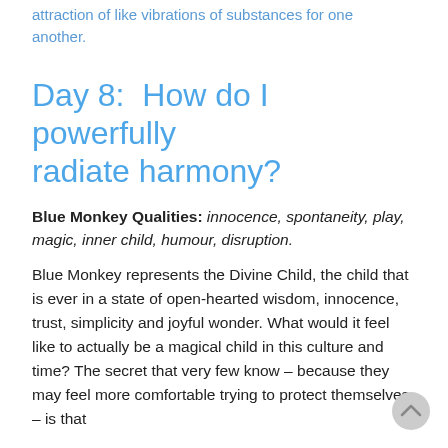attraction of like vibrations of substances for one another.
Day 8:  How do I powerfully radiate harmony?
Blue Monkey Qualities: innocence, spontaneity, play, magic, inner child, humour, disruption.
Blue Monkey represents the Divine Child, the child that is ever in a state of open-hearted wisdom, innocence, trust, simplicity and joyful wonder. What would it feel like to actually be a magical child in this culture and time? The secret that very few know – because they may feel more comfortable trying to protect themselves – is that